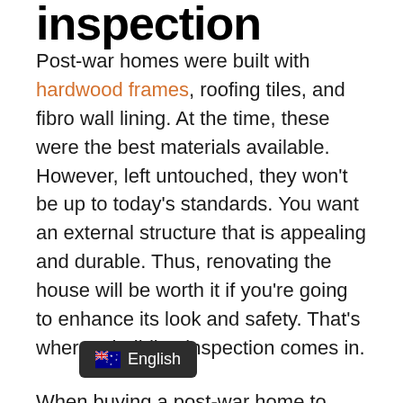inspection
Post-war homes were built with hardwood frames, roofing tiles, and fibro wall lining. At the time, these were the best materials available. However, left untouched, they won't be up to today's standards. You want an external structure that is appealing and durable. Thus, renovating the house will be worth it if you're going to enhance its look and safety. That's where a building inspection comes in.
When buying a post-war home to renovate, get an experienced building inspector to check the property over. It's likely there's much original left.
A building inspection is more than a cosmetic check. It checks structural issues that could quickly put your renovation on hold if you don't know about them before you purchase the property. Defects like a leaking